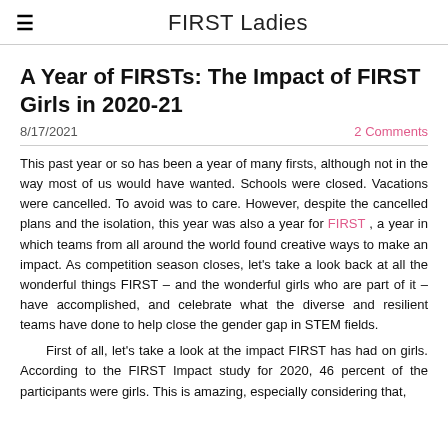FIRST Ladies
A Year of FIRSTs: The Impact of FIRST Girls in 2020-21
8/17/2021
2 Comments
This past year or so has been a year of many firsts, although not in the way most of us would have wanted. Schools were closed. Vacations were cancelled. To avoid was to care. However, despite the cancelled plans and the isolation, this year was also a year for FIRST , a year in which teams from all around the world found creative ways to make an impact. As competition season closes, let's take a look back at all the wonderful things FIRST – and the wonderful girls who are part of it – have accomplished, and celebrate what the diverse and resilient teams have done to help close the gender gap in STEM fields.
First of all, let's take a look at the impact FIRST has had on girls. According to the FIRST Impact study for 2020, 46 percent of the participants were girls. This is amazing, especially considering that,